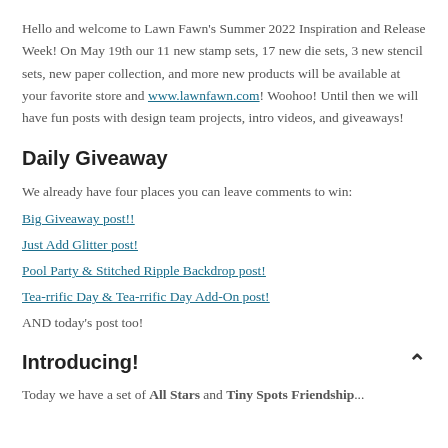Hello and welcome to Lawn Fawn's Summer 2022 Inspiration and Release Week! On May 19th our 11 new stamp sets, 17 new die sets, 3 new stencil sets, new paper collection, and more new products will be available at your favorite store and www.lawnfawn.com! Woohoo! Until then we will have fun posts with design team projects, intro videos, and giveaways!
Daily Giveaway
We already have four places you can leave comments to win:
Big Giveaway post!!
Just Add Glitter post!
Pool Party & Stitched Ripple Backdrop post!
Tea-rrific Day & Tea-rrific Day Add-On post!
AND today's post too!
Introducing!
Today we have a set of All Stars and Tiny Spots Friendship...